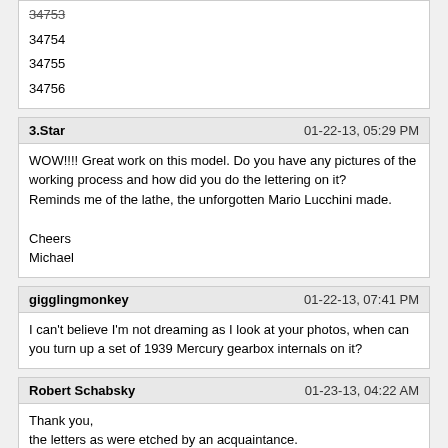34753
34754
34755
34756
3.Star | 01-22-13, 05:29 PM
WOW!!!! Great work on this model. Do you have any pictures of the working process and how did you do the lettering on it?
Reminds me of the lathe, the unforgotten Mario Lucchini made.

Cheers
Michael
gigglingmonkey | 01-22-13, 07:41 PM
I can't believe I'm not dreaming as I look at your photos, when can you turn up a set of 1939 Mercury gearbox internals on it?
Robert Schabsky | 01-23-13, 04:22 AM
Thank you,
the letters as were etched by an acquaintance.
I have no more pictures.
Sorry vor my english.

Aloha Robert
-